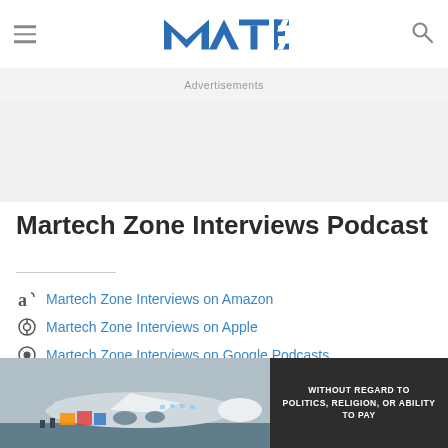Martech Zone (MTE) logo with hamburger menu and search icon
Advertisements
Martech Zone Interviews Podcast
Martech Zone Interviews on Amazon
Martech Zone Interviews on Apple
Martech Zone Interviews on Google Podcasts
Martech Zone Interviews on Google Play
[Figure (photo): Bottom advertisement banner showing an airplane being loaded with cargo, with text WITHOUT REGARD TO POLITICS, RELIGION, OR ABILITY TO PAY on dark background]